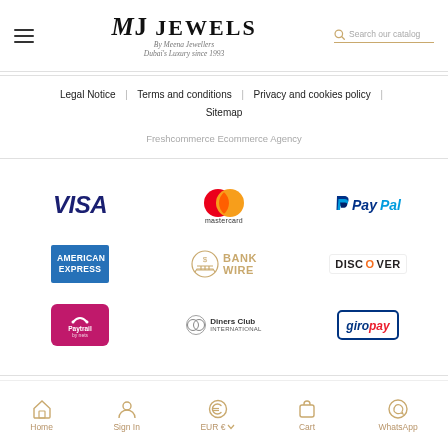MJ JEWELS — By Meena Jewellers — Dubai's Luxury since 1993
Legal Notice | Terms and conditions | Privacy and cookies policy | Sitemap
Freshcommerce Ecommerce Agency
[Figure (logo): Payment provider logos: VISA, Mastercard, PayPal, American Express, Bank Wire, Discover, Paytrail, Diners Club International, giropay]
Home | Sign In | EUR € | Cart | WhatsApp